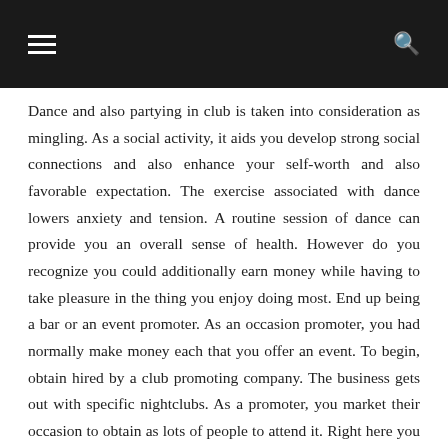Dance and also partying in club is taken into consideration as mingling. As a social activity, it aids you develop strong social connections and also enhance your self-worth and also favorable expectation. The exercise associated with dance lowers anxiety and tension. A routine session of dance can provide you an overall sense of health. However do you recognize you could additionally earn money while having to take pleasure in the thing you enjoy doing most. End up being a bar or an event promoter. As an occasion promoter, you had normally make money each that you offer an event. To begin, obtain hired by a club promoting company. The business gets out with specific nightclubs. As a promoter, you market their occasion to obtain as lots of people to attend it. Right here you can